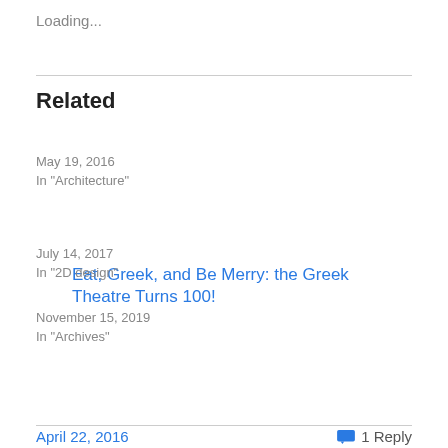Loading...
Related
Eat, Greek, and Be Merry: the Greek Theatre Turns 100!
May 19, 2016
In "Architecture"
Three C's: China, Cranbrook, and the Crane
July 14, 2017
In "2D design"
Discovering the University of Michigan in the collections of Cranbrook Archives
November 15, 2019
In "Archives"
April 22, 2016   1 Reply